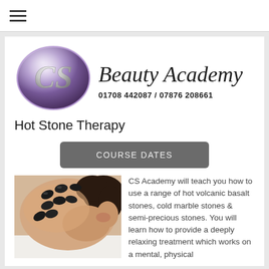≡ (hamburger menu)
[Figure (logo): CS Beauty Academy oval purple logo with stylized CS initials and text 'Beauty Academy' and phone number '01708 442087 / 07876 208661']
Hot Stone Therapy
COURSE DATES
[Figure (photo): Woman lying face down receiving hot stone massage therapy with black volcanic basalt stones placed along her spine and back]
CS Academy will teach you how to use a range of hot volcanic basalt stones, cold marble stones & semi-precious stones. You will learn how to provide a deeply relaxing treatment which works on a mental, physical